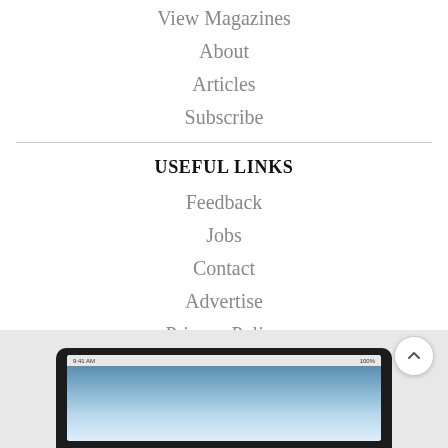View Magazines
About
Articles
Subscribe
USEFUL LINKS
Feedback
Jobs
Contact
Advertise
Privacy Policy
Advertiser Terms & Conditions
[Figure (screenshot): Tablet device showing a magazine app with a sky/clouds image on screen, partially cropped at bottom of page]